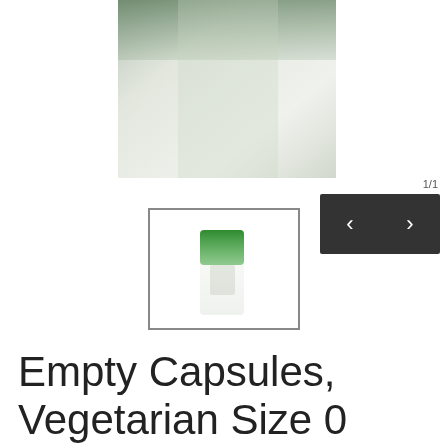[Figure (photo): Large product image of empty vegetarian capsules - blurred close-up showing green and translucent capsule body against white background]
[Figure (photo): Thumbnail image of empty vegetarian capsule with green cap and translucent white body, shown inside a bordered box]
[Figure (screenshot): Navigation UI element showing 1/1 page indicator and dark arrow navigation buttons (left and right chevrons)]
Empty Capsules, Vegetarian Size 0 140